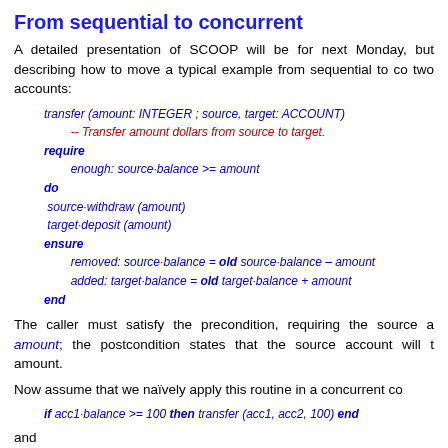From sequential to concurrent
A detailed presentation of SCOOP will be for next Monday, but describing how to move a typical example from sequential to concurrent two accounts:
transfer (amount: INTEGER ; source, target: ACCOUNT)
-- Transfer amount dollars from source to target.
require
    enough: source·balance >= amount
do
    source·withdraw (amount)
    target·deposit (amount)
ensure
    removed: source·balance = old source·balance – amount
    added: target·balance = old target·balance + amount
end
The caller must satisfy the precondition, requiring the source account to hold at least amount; the postcondition states that the source account will have been debited by the amount.
Now assume that we naïvely apply this routine in a concurrent context:
if acc1·balance >= 100 then transfer (acc1, acc2, 100) end
and